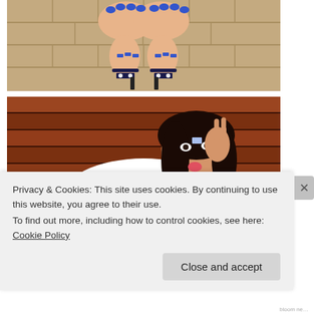[Figure (photo): Top-down view of a woman's hands with blue painted nails clasped together, and feet wearing blue heeled sandals, on a tiled floor background]
[Figure (photo): Young woman with dark curly hair wearing a white top, sitting against a wooden slat wall, sticking her tongue out and making a playful gesture]
Privacy & Cookies: This site uses cookies. By continuing to use this website, you agree to their use.
To find out more, including how to control cookies, see here: Cookie Policy
Close and accept